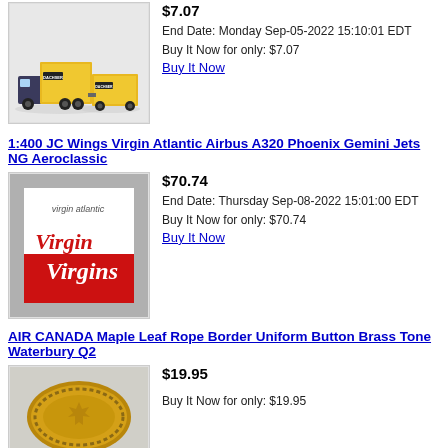1:400 JC Wings Virgin Atlantic Airbus A320 Phoenix Gemini Jets NG Aeroclassic
[Figure (photo): Yellow and grey toy trucks/lorries with DACHSER branding on white background]
$7.07
End Date: Monday Sep-05-2022 15:10:01 EDT
Buy It Now for only: $7.07
Buy It Now
1:400 JC Wings Virgin Atlantic Airbus A320 Phoenix Gemini Jets NG Aeroclassic
[Figure (photo): Virgin Atlantic logo/card with red and white design]
$70.74
End Date: Thursday Sep-08-2022 15:01:00 EDT
Buy It Now for only: $70.74
Buy It Now
AIR CANADA Maple Leaf Rope Border Uniform Button Brass Tone Waterbury Q2
[Figure (photo): Gold/brass tone button with maple leaf design and rope border]
$19.95
Buy It Now for only: $19.95